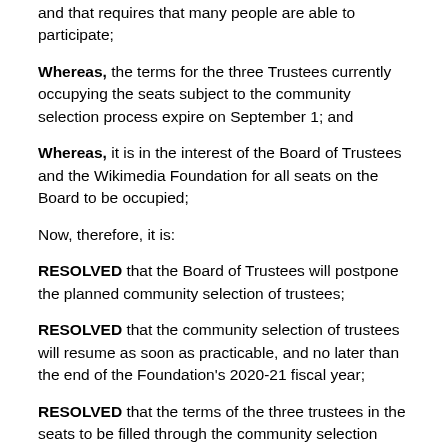and that requires that many people are able to participate;
Whereas, the terms for the three Trustees currently occupying the seats subject to the community selection process expire on September 1; and
Whereas, it is in the interest of the Board of Trustees and the Wikimedia Foundation for all seats on the Board to be occupied;
Now, therefore, it is:
RESOLVED that the Board of Trustees will postpone the planned community selection of trustees;
RESOLVED that the community selection of trustees will resume as soon as practicable, and no later than the end of the Foundation's 2020-21 fiscal year;
RESOLVED that the terms of the three trustees in the seats to be filled through the community selection process (María Sefidari, Dariusz Jemielniak, and James Heilman) are extended as needed through the postponement period, until such time as the Board appoints community-selected candidates for their seats; and